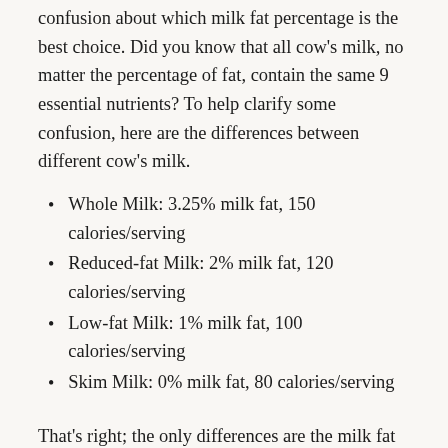confusion about which milk fat percentage is the best choice. Did you know that all cow's milk, no matter the percentage of fat, contain the same 9 essential nutrients? To help clarify some confusion, here are the differences between different cow's milk.
Whole Milk: 3.25% milk fat, 150 calories/serving
Reduced-fat Milk: 2% milk fat, 120 calories/serving
Low-fat Milk: 1% milk fat, 100 calories/serving
Skim Milk: 0% milk fat, 80 calories/serving
That's right; the only differences are the milk fat percentage and calories per serving. The amount of protein, carbohydrates, and nutrients remain the same. Vitamin A and D are usually fortified back in lower fat milks, which is lost during the skimming process.
So, which is better for you to drink? It completely